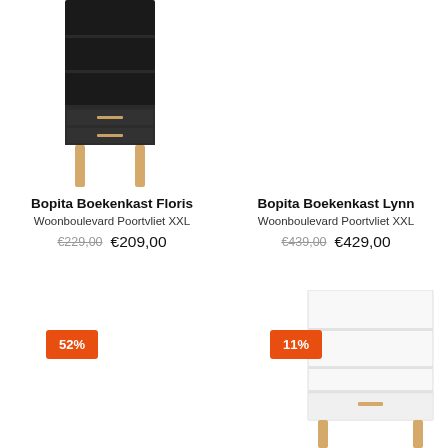[Figure (photo): Bopita Boekenkast Floris - black bookcase with shelves and two drawers on wooden legs, top portion visible]
[Figure (photo): Bopita Boekenkast Lynn - white bookcase with shelves and bottom door on wooden legs, partial view]
Bopita Boekenkast Floris
Woonboulevard Poortvliet XXL
€229,00  €209,00
Bopita Boekenkast Lynn
Woonboulevard Poortvliet XXL
€439,00  €429,00
52%
11%